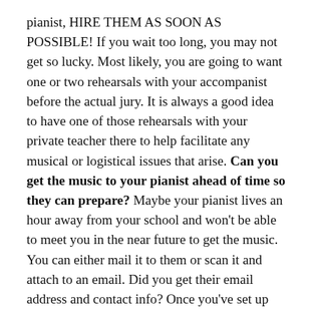pianist, HIRE THEM AS SOON AS POSSIBLE!  If you wait too long, you may not get so lucky.  Most likely, you are going to want one or two rehearsals with your accompanist before the actual jury.  It is always a good idea to have one of those rehearsals with your private teacher there to help facilitate any musical or logistical issues that arise.  Can you get the music to your pianist ahead of time so they can prepare?  Maybe your pianist lives an hour away from your school and won't be able to meet you in the near future to get the music.  You can either mail it to them or scan it and attach to an email.  Did you get their email address and contact info?  Once you've set up times to rehearse, you must consider Do I have a location in which to rehearse?  Sometimes, when you're a student, you don't always have reliable access to a room with a piano.  You may want to defer to the accompanist on this one.  He or she may have access to a great rehearsal space.  Your